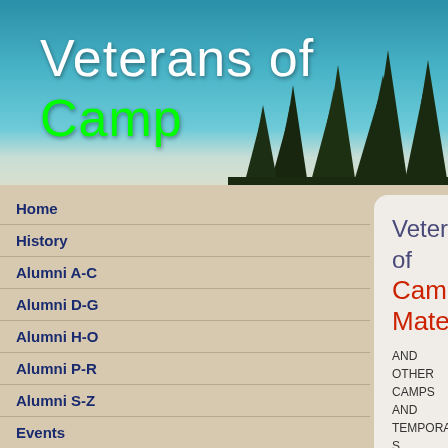Veterans of Camp
[Figure (illustration): Dark silhouette of pine trees against teal/blue gradient sky background in website header banner]
Home
History
Alumni A-C
Alumni D-G
Alumni H-O
Alumni P-R
Alumni S-Z
Events
In Memoriam
Literary Corner
Notable Career Paths
Other Notable Alumni
Links & Pics
Contact Us
Veterans of Camp Matecumbe
AND OTHER CAMPS AND TEMPORARY S... OPERATING FROM 1960 TO APPROXIMA...
This is a bilingual website to re-unite the grow... 15,000+ Cuban children who arrived in the US... 1962 with Visa waivers in the Unaccompanied... Catholic Social Service Bureau and the US Go... Matecumbe or any other temporary centers su... Locka, St. Raphael's, Whitehall, Casa Ferré, C... family or to foster homes. The people most res... were father (now Monsignor) Bryan Oliver... the Ruston Academy in Havana, (both of who... Amador Odio and Sara (del Toro) Odio...